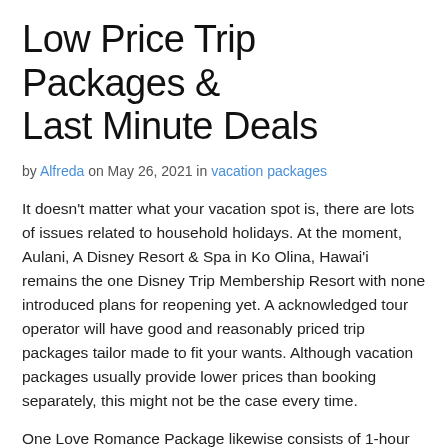Low Price Trip Packages & Last Minute Deals
by Alfreda on May 26, 2021 in vacation packages
It doesn't matter what your vacation spot is, there are lots of issues related to household holidays. At the moment, Aulani, A Disney Resort & Spa in Ko Olina, Hawai'i remains the one Disney Trip Membership Resort with none introduced plans for reopening yet. A acknowledged tour operator will have good and reasonably priced trip packages tailor made to fit your wants. Although vacation packages usually provide lower prices than booking separately, this might not be the case every time.
One Love Romance Package likewise consists of 1-hour massage for couple, personal guided tour in Little Bay